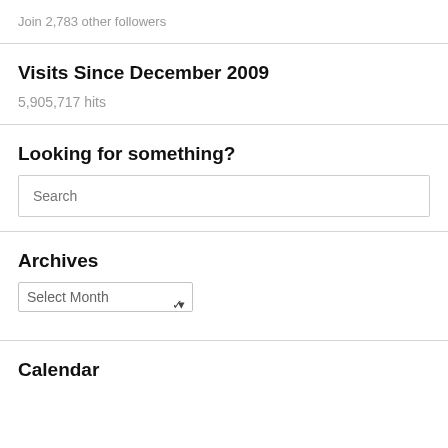Join 2,783 other followers
Visits Since December 2009
5,905,717 hits
Looking for something?
Search
Archives
Select Month
Calendar